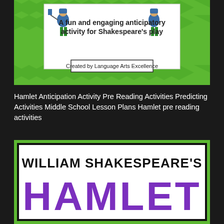[Figure (illustration): Green and white chevron bordered card with two medieval knight illustrations and text reading 'A fun and engaging anticipatory activity for Shakespeare's play' and 'Created by Language Arts Excellence']
Hamlet Anticipation Activity Pre Reading Activities Predicting Activities Middle School Lesson Plans Hamlet pre reading activities
[Figure (illustration): Green bordered card with black text 'WILLIAM SHAKESPEARE'S' and large purple block letters 'HAMLET' partially visible]